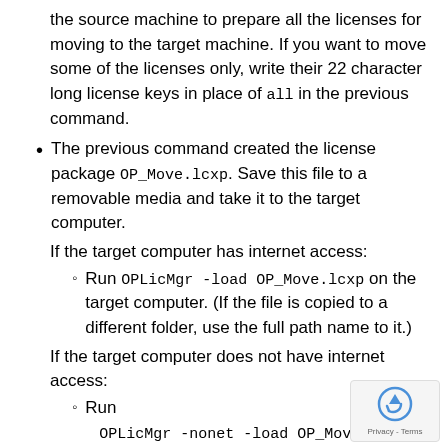the source machine to prepare all the licenses for moving to the target machine. If you want to move some of the licenses only, write their 22 character long license keys in place of all in the previous command.
The previous command created the license package OP_Move.lcxp. Save this file to a removable media and take it to the target computer.
If the target computer has internet access:
Run OPLicMgr -load OP_Move.lcxp on the target computer. (If the file is copied to a different folder, use the full path name to it.)
If the target computer does not have internet access:
Run OPLicMgr -nonet -load OP_Move.l the target computer. (If the file is copied to a different folder, use the full path name to it.)